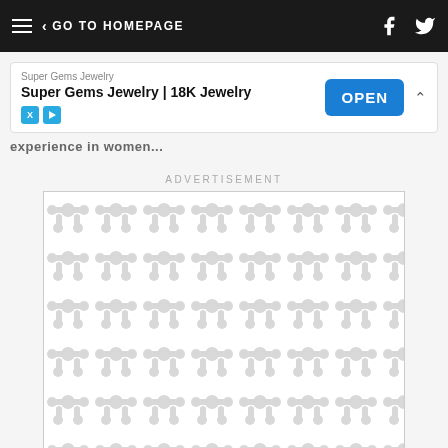GO TO HOMEPAGE
[Figure (screenshot): Ad banner: Super Gems Jewelry | 18K Jewelry with OPEN button]
experience in women...
ADVERTISEMENT
[Figure (other): Advertisement placeholder with repeating molecule/blob pattern on white background]